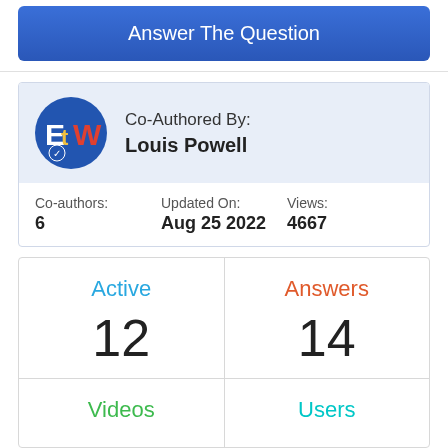[Figure (other): Blue button labeled 'Answer The Question']
Co-Authored By:
Louis Powell
Co-authors: 6
Updated On: Aug 25 2022
Views: 4667
| Active | Answers |
| --- | --- |
| 12 | 14 |
| Videos | Users |
| --- | --- |
|  |  |